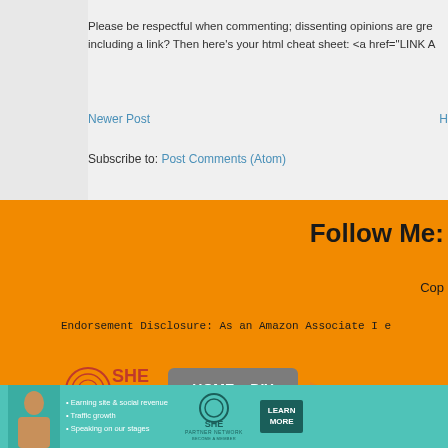Please be respectful when commenting; dissenting opinions are gre including a link? Then here's your html cheat sheet: <a href="LINK A
Newer Post
Subscribe to: Post Comments (Atom)
Follow Me:
Cop
Endorsement Disclosure: As an Amazon Associate I e
[Figure (logo): SHE Media Collective HOME + DIY badge with play button]
Learn More | Privacy
[Figure (infographic): SHE Partner Network banner ad with woman, bullet points: Earning site & social revenue, Traffic growth, Speaking on our stages, LEARN MORE button]